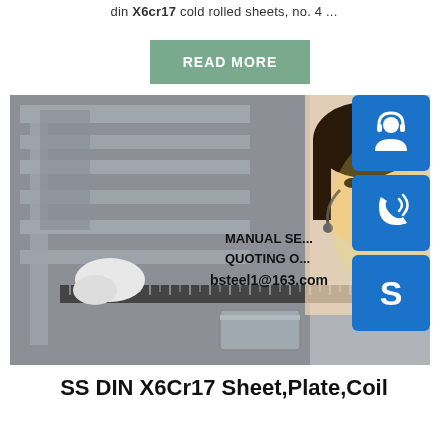din X6cr17 cold rolled sheets, no. 4 ...
[Figure (other): Green READ MORE button]
[Figure (photo): Steel sheets/plates being measured with a ruler, industrial setting. On the right side: a smiling woman with headset (customer service representative) and three blue icon boxes showing headset/customer service icon, phone icon, and Skype 'S' icon. Overlay text: MANUAL SE... / QUOTING O... / bsteel1@163.com]
SS DIN X6Cr17 Sheet,Plate,Coil